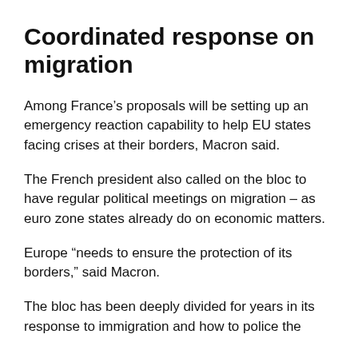Coordinated response on migration
Among France’s proposals will be setting up an emergency reaction capability to help EU states facing crises at their borders, Macron said.
The French president also called on the bloc to have regular political meetings on migration – as euro zone states already do on economic matters.
Europe “needs to ensure the protection of its borders,” said Macron.
The bloc has been deeply divided for years in its response to immigration and how to police the